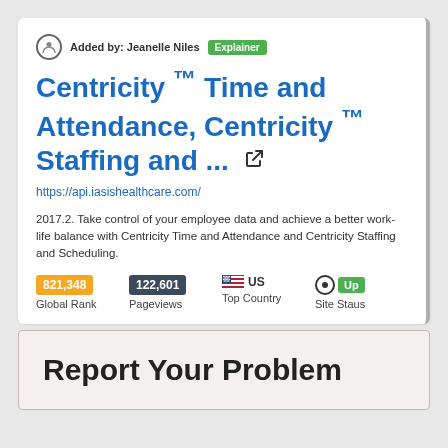Added by: Jeanelle Niles  Explainer
Centricity ™ Time and Attendance, Centricity ™ Staffing and ...
https://api.iasishealthcare.com/
2017.2. Take control of your employee data and achieve a better work-life balance with Centricity Time and Attendance and Centricity Staffing and Scheduling.
821,348 Global Rank  122,601 Pageviews  US Top Country  Up Site Staus
Report Your Problem